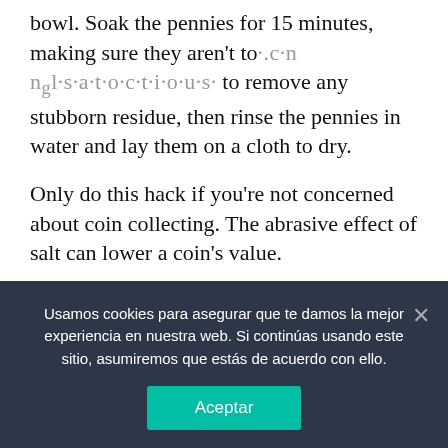bowl. Soak the pennies for 15 minutes, making sure they aren't touching salt to remove any stubborn residue, then rinse the pennies in water and lay them on a cloth to dry.
Only do this hack if you're not concerned about coin collecting. The abrasive effect of salt can lower a coin's value.
11. Brighten the colors of rugs and curtains.
Revitalize old rugs by rubbing them with a cloth that has been soaked in salt water. Smaller throw rugs, curtains and clothes can be soaked in salt...
Usamos cookies para asegurar que te damos la mejor experiencia en nuestra web. Si continúas usando este sitio, asumiremos que estás de acuerdo con ello.